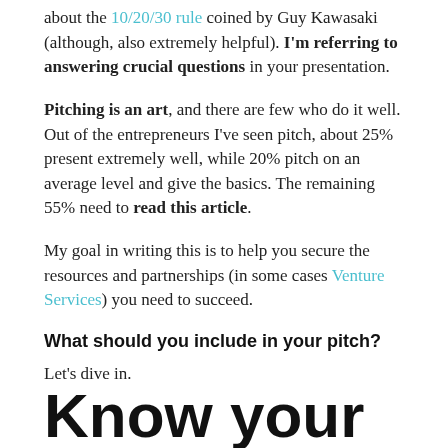about the 10/20/30 rule coined by Guy Kawasaki (although, also extremely helpful). I'm referring to answering crucial questions in your presentation.
Pitching is an art, and there are few who do it well. Out of the entrepreneurs I've seen pitch, about 25% present extremely well, while 20% pitch on an average level and give the basics. The remaining 55% need to read this article.
My goal in writing this is to help you secure the resources and partnerships (in some cases Venture Services) you need to succeed.
What should you include in your pitch?
Let's dive in.
Know your